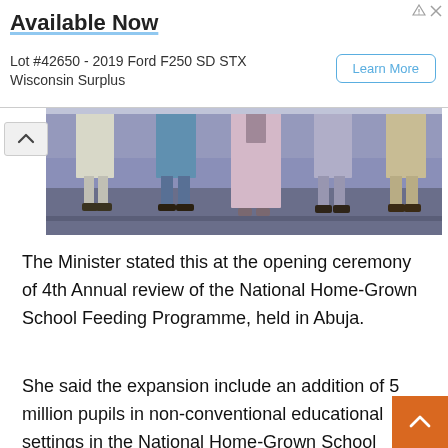[Figure (infographic): Advertisement banner: 'Available Now' with text 'Lot #42650 - 2019 Ford F250 SD STX Wisconsin Surplus' and a 'Learn More' button]
[Figure (photo): Partial photo showing legs and feet of several people standing on a stage or platform, cropped at the waist]
The Minister stated this at the opening ceremony of 4th Annual review of the National Home-Grown School Feeding Programme, held in Abuja.
She said the expansion include an addition of 5 million pupils in non-conventional educational settings in the National Home-Grown School